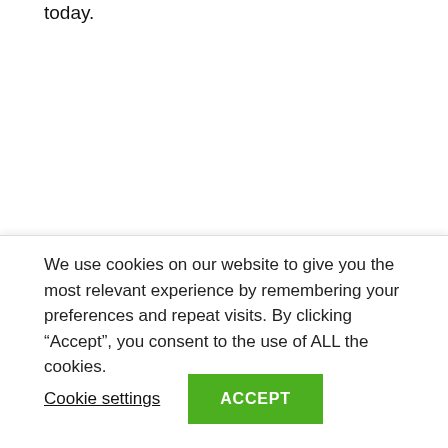today.
Hannah helped change the law in 2018 after her successful campaign to enable her epileptic son Alfie Dingley to be legally prescribed cannabis medicines. She continues to help other families access medical cannabis in the UK.  Hannah is also a director of the Medical Cannabis Clinicians Society and Maple Tree
We use cookies on our website to give you the most relevant experience by remembering your preferences and repeat visits. By clicking “Accept”, you consent to the use of ALL the cookies.
Cookie settings
ACCEPT